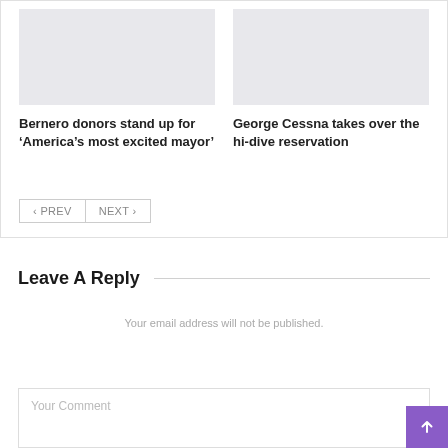[Figure (photo): Gray placeholder image for article card 1]
Bernero donors stand up for ‘America’s most excited mayor’
[Figure (photo): Gray placeholder image for article card 2]
George Cessna takes over the hi-dive reservation
< PREV
NEXT >
Leave A Reply
Your email address will not be published.
Your Comment